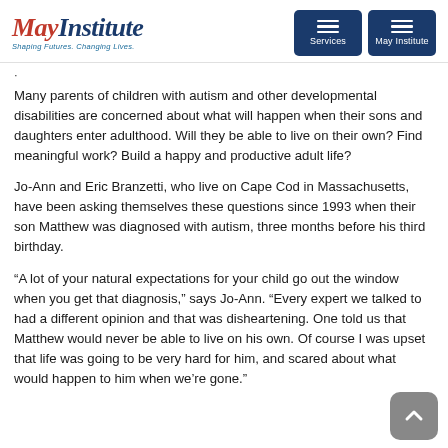May Institute — Shaping Futures. Changing Lives. | Services | May Institute
· [truncated heading text]
Many parents of children with autism and other developmental disabilities are concerned about what will happen when their sons and daughters enter adulthood. Will they be able to live on their own? Find meaningful work? Build a happy and productive adult life?
Jo-Ann and Eric Branzetti, who live on Cape Cod in Massachusetts, have been asking themselves these questions since 1993 when their son Matthew was diagnosed with autism, three months before his third birthday.
“A lot of your natural expectations for your child go out the window when you get that diagnosis,” says Jo-Ann. “Every expert we talked to had a different opinion and that was disheartening. One told us that Matthew would never be able to live on his own. Of course I was upset that life was going to be very hard for him, and scared about what would happen to him when we’re gone.”